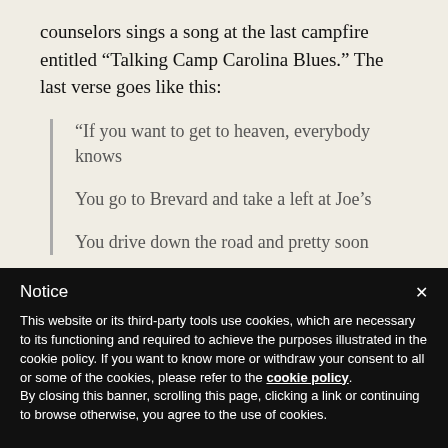counselors sings a song at the last campfire entitled “Talking Camp Carolina Blues.” The last verse goes like this:
“If you want to get to heaven, everybody knows

You go to Brevard and take a left at Joe’s

You drive down the road and pretty soon
Notice
This website or its third-party tools use cookies, which are necessary to its functioning and required to achieve the purposes illustrated in the cookie policy. If you want to know more or withdraw your consent to all or some of the cookies, please refer to the cookie policy.
By closing this banner, scrolling this page, clicking a link or continuing to browse otherwise, you agree to the use of cookies.